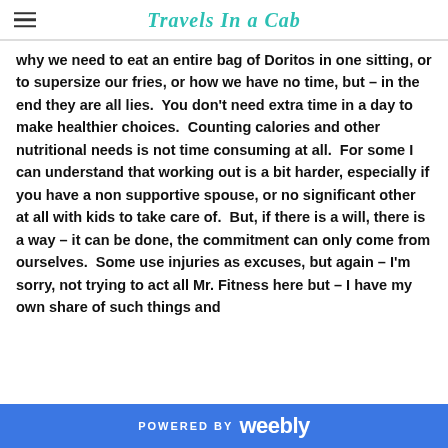Travels In a Cab
why we need to eat an entire bag of Doritos in one sitting, or to supersize our fries, or how we have no time, but – in the end they are all lies.  You don't need extra time in a day to make healthier choices.  Counting calories and other nutritional needs is not time consuming at all.  For some I can understand that working out is a bit harder, especially if you have a non supportive spouse, or no significant other at all with kids to take care of.  But, if there is a will, there is a way – it can be done, the commitment can only come from ourselves.  Some use injuries as excuses, but again – I'm sorry, not trying to act all Mr. Fitness here but – I have my own share of such things and
POWERED BY weebly